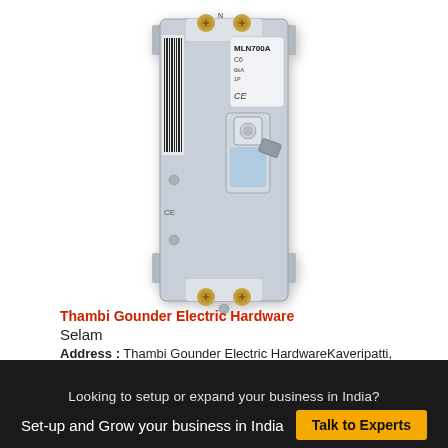[Figure (photo): Photo of a Hager MLN700A miniature circuit breaker (MCB), gray plastic body with blue transparent window and toggle switch, two gold-colored terminal screws at top and bottom, barcode label on side, CE marking visible.]
Thambi Gounder Electric Hardware
Selam
Address : Thambi Gounder Electric HardwareKaveripatti, Kaveripatti, ,Selam,India
Looking to setup or expand your business in India?
Set-up and Grow your business in India
Talk to Experts